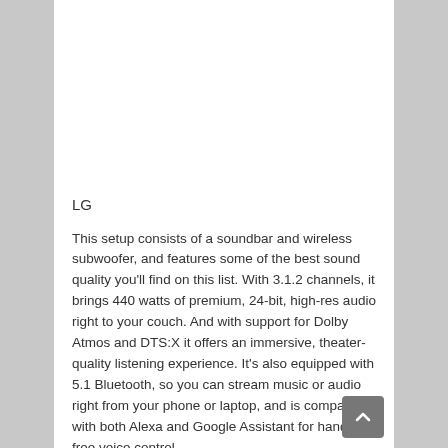LG
This setup consists of a soundbar and wireless subwoofer, and features some of the best sound quality you'll find on this list. With 3.1.2 channels, it brings 440 watts of premium, 24-bit, high-res audio right to your couch. And with support for Dolby Atmos and DTS:X it offers an immersive, theater-quality listening experience. It's also equipped with 5.1 Bluetooth, so you can stream music or audio right from your phone or laptop, and is compatible with both Alexa and Google Assistant for hands-free voice control.